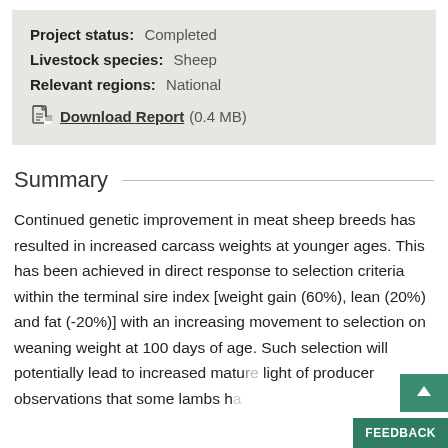Project status: Completed
Livestock species: Sheep
Relevant regions: National
Download Report (0.4 MB)
Summary
Continued genetic improvement in meat sheep breeds has resulted in increased carcass weights at younger ages. This has been achieved in direct response to selection criteria within the terminal sire index [weight gain (60%), lean (20%) and fat (-20%)] with an increasing movement to selection on weaning weight at 100 days of age. Such selection will potentially lead to increased matu… in light of producer observations that some lambs h…